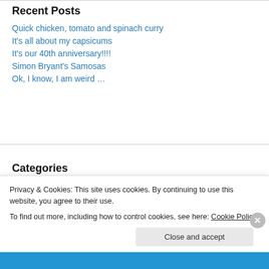Recent Posts
Quick chicken, tomato and spinach curry
It's all about my capsicums
It's our 40th anniversary!!!!
Simon Bryant's Samosas
Ok, I know, I am weird …
Categories
Bread
Commercial yeast
Privacy & Cookies: This site uses cookies. By continuing to use this website, you agree to their use.
To find out more, including how to control cookies, see here: Cookie Policy
Close and accept